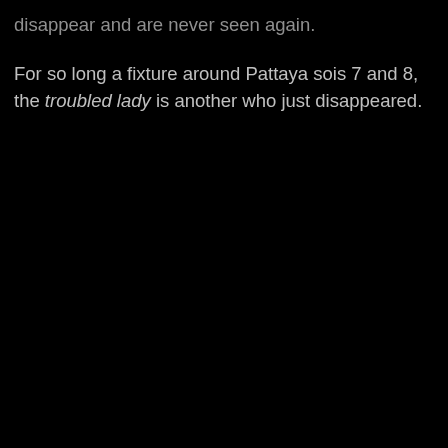disappear and are never seen again.
For so long a fixture around Pattaya sois 7 and 8, the troubled lady is another who just disappeared.